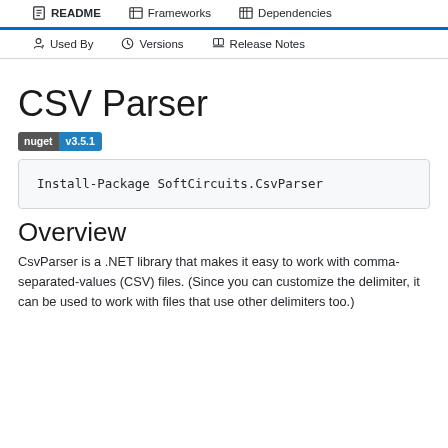README | Frameworks | Dependencies | Used By | Versions | Release Notes
CSV Parser
[Figure (other): nuget v3.5.1 badge]
Overview
CsvParser is a .NET library that makes it easy to work with comma-separated-values (CSV) files. (Since you can customize the delimiter, it can be used to work with files that use other delimiters too.)